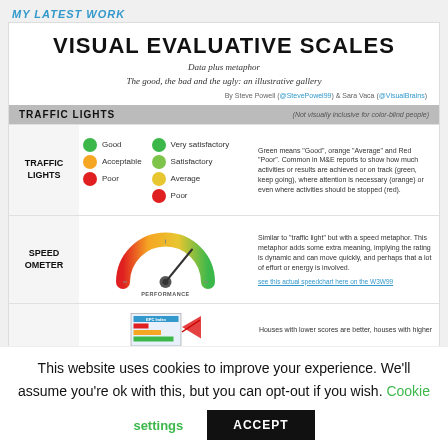MY LATEST WORK
VISUAL EVALUATIVE SCALES
Data plus metaphor
The good, the bad and the ugly: an illustrative gallery
By Steve Powell (@StevePowel99) & Sara Vaca (@VisualBrains)
TRAFFIC LIGHTS (Not visually inclusive for color-blind people)
[Figure (infographic): Traffic lights legend with colored dots: Good (green), Acceptable (orange), Poor (red) in one column; Very satisfactory (dark green), Satisfactory (green), Average (yellow-orange), Poor (red) in another column. Description: Green means 'Good', orange 'Average' and Red 'Poor'. Common in M&E reports to show how much activities or results are achieved or on track (green, keep going), where attention is necessary (orange) or even where activities should be stopped (red).]
[Figure (infographic): Speedometer gauge showing performance meter going from red/orange on left to green on right, pointing to a middle-right position. Label: PERFORMANCE. Description: Similar to 'traffic light' but with a speed metaphor. This metaphor adds some extra meaning, implying the rating is dynamic and can move quickly, and perhaps that a lot of effort or energy is involved.]
[Figure (infographic): Partial view of a table/chart with an arrow. Caption: Houses with lower scores are better, houses with higher]
This website uses cookies to improve your experience. We'll assume you're ok with this, but you can opt-out if you wish.
Cookie settings
ACCEPT